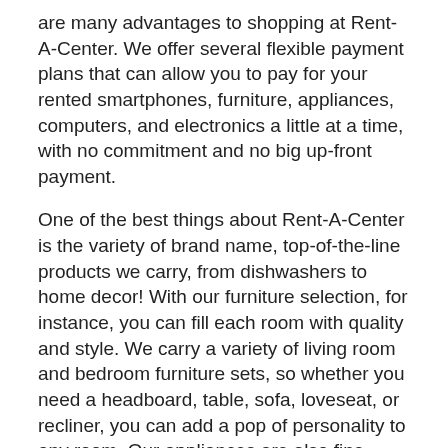are many advantages to shopping at Rent-A-Center. We offer several flexible payment plans that can allow you to pay for your rented smartphones, furniture, appliances, computers, and electronics a little at a time, with no commitment and no big up-front payment.
One of the best things about Rent-A-Center is the variety of brand name, top-of-the-line products we carry, from dishwashers to home decor! With our furniture selection, for instance, you can fill each room with quality and style. We carry a variety of living room and bedroom furniture sets, so whether you need a headboard, table, sofa, loveseat, or recliner, you can add a pop of personality to any room. Our appliances are also fine choices for your home. Extra-capacity refrigerators give you the ability to organize and store your food easily to keep it fresher, longer. Plus rent a computer with no long-term commitment and flexible payment options. We carry quality computers that are perfect for the tech-savvy consumer on a budget.
Last but not least, our Alexandria-area store stocks a variety of other electronics and smartphones from the best brands